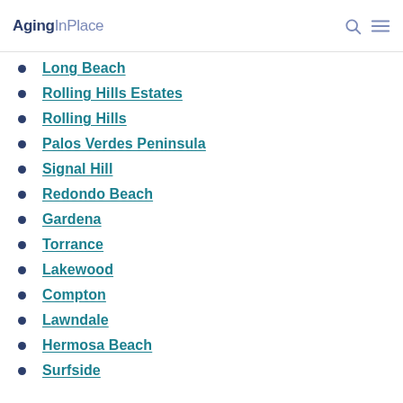AgingInPlace
Long Beach
Rolling Hills Estates
Rolling Hills
Palos Verdes Peninsula
Signal Hill
Redondo Beach
Gardena
Torrance
Lakewood
Compton
Lawndale
Hermosa Beach
Surfside